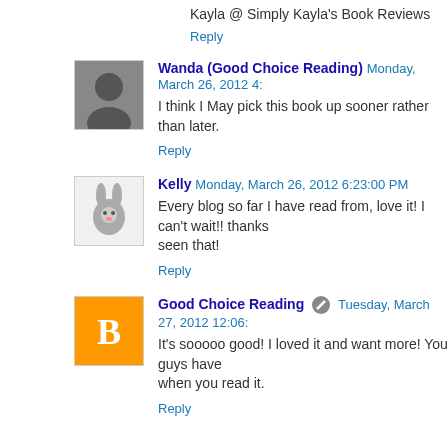Kayla @ Simply Kayla's Book Reviews
Reply
Wanda (Good Choice Reading) Monday, March 26, 2012 4:[truncated]
I think I May pick this book up sooner rather than later.
Reply
Kelly Monday, March 26, 2012 6:23:00 PM
Every blog so far I have read from, love it! I can't wait!! thanks seen that!
Reply
Good Choice Reading Tuesday, March 27, 2012 12:06:[truncated]
It's sooooo good! I loved it and want more! You guys have when you read it.
Reply